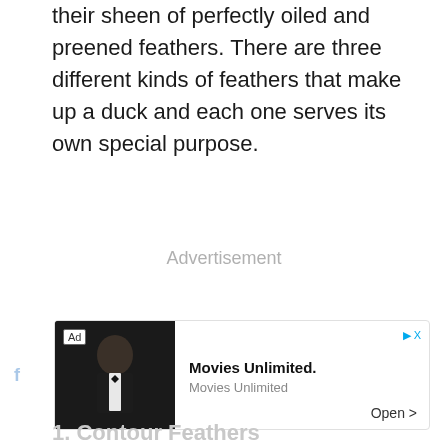their sheen of perfectly oiled and preened feathers. There are three different kinds of feathers that make up a duck and each one serves its own special purpose.
Advertisement
[Figure (screenshot): Advertisement banner for Movies Unlimited app showing a man in a tuxedo, with Ad badge, play icon, close button, and Open button]
1. Contour Feathers